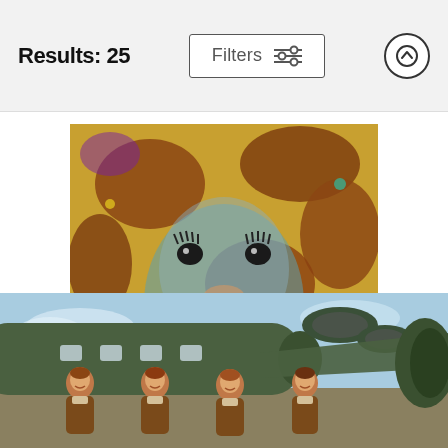Results: 25    Filters
[Figure (illustration): Colorful painting of an African giraffe close-up, showing the giraffe's face and neck with vibrant blues, yellows, browns and oranges in a painterly style]
African Giraffe
John Bohn
$34
[Figure (illustration): Painting of four women in flight jackets (WASP pilots) posing in front of a WWII-era B-17 bomber aircraft, painted in muted greens, browns and blues]